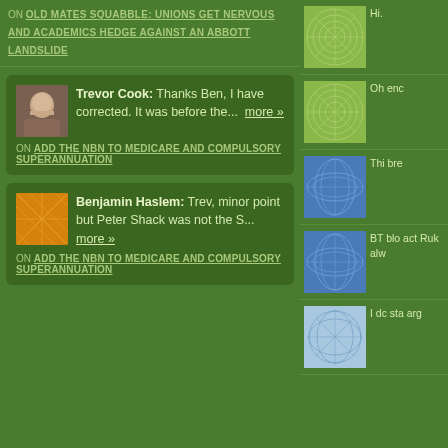ON OLD MATES SQUABBLE: UNIONS GET NERVOUS AND ACADEMICS HEDGE AGAINST AN ABBOTT LANDSLIDE
Trevor Cook: Thanks Ben, I have corrected. It was before the... more »
ON ADD THE NBN TO MEDICARE AND COMPULSORY SUPERANNUATION
Benjamin Haslem: Trev, minor point but Peter Shack was not the S... more »
ON ADD THE NBN TO MEDICARE AND COMPULSORY SUPERANNUATION
Hi.
Oh enc
Thi bre
BT blo act Ruk alw
I dc sta arg